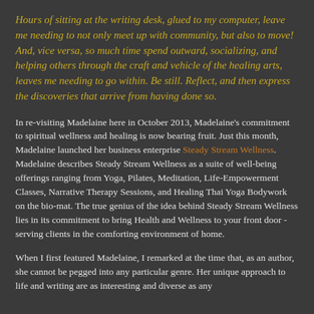Hours of sitting at the writing desk, glued to my computer, leave me needing to not only meet up with community, but also to move! And, vice versa, so much time spend outward, socializing, and helping others through the craft and vehicle of the healing arts, leaves me needing to go within. Be still. Reflect, and then express the discoveries that arrive from having done so.
In re-visiting Madelaine here in October 2013, Madelaine's commitment to spiritual wellness and healing is now bearing fruit. Just this month, Madelaine launched her business enterprise Steady Stream Wellness. Madelaine describes Steady Stream Wellness as a suite of well-being offerings ranging from Yoga, Pilates, Meditation, Life-Empowerment Classes, Narrative Therapy Sessions, and Healing Thai Yoga Bodywork on the bio-mat. The true genius of the idea behind Steady Stream Wellness lies in its commitment to bring Health and Wellness to your front door - serving clients in the comforting environment of home.
When I first featured Madelaine, I remarked at the time that, as an author, she cannot be pegged into any particular genre. Her unique approach to life and writing are as interesting and diverse as any